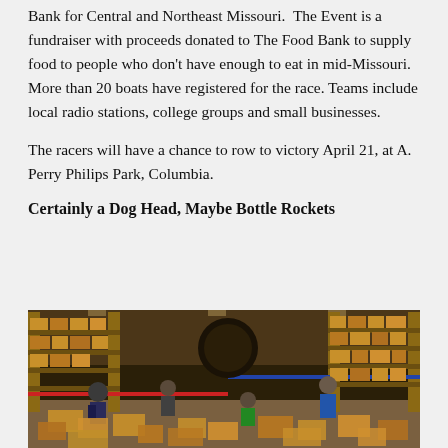Bank for Central and Northeast Missouri.  The Event is a fundraiser with proceeds donated to The Food Bank to supply food to people who don't have enough to eat in mid-Missouri.  More than 20 boats have registered for the race. Teams include local radio stations, college groups and small businesses.
The racers will have a chance to row to victory April 21, at A. Perry Philips Park, Columbia.
Certainly a Dog Head, Maybe Bottle Rockets
[Figure (photo): Interior of a warehouse or food bank facility with high metal shelving stacked with cardboard boxes. Several people are visible sorting and handling boxes on the floor. The shelving has red and blue metal beams. The floor is scattered with open and piled cardboard boxes.]